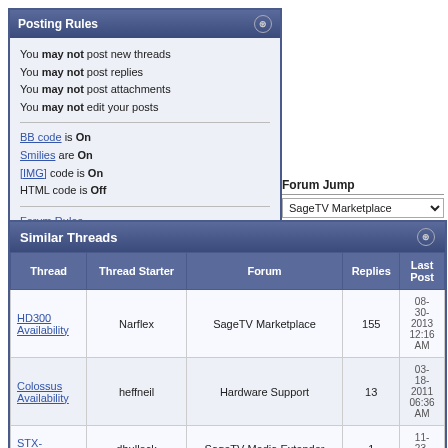Posting Rules
You may not post new threads
You may not post replies
You may not post attachments
You may not edit your posts
BB code is On
Smilies are On
[IMG] code is On
HTML code is Off
Forum Rules
Forum Jump
SageTV Marketplace
Similar Threads
| Thread | Thread Starter | Forum | Replies | Last Post |
| --- | --- | --- | --- | --- |
| HD300 Availability | Narflex | SageTV Marketplace | 155 | 08-30-2013 12:16 AM |
| Colossus Availability | heffneil | Hardware Support | 13 | 03-18-2011 06:36 AM |
| STX-HD100 | dbullock | SageTV Media Extender | 1 | 11-23-2008 |